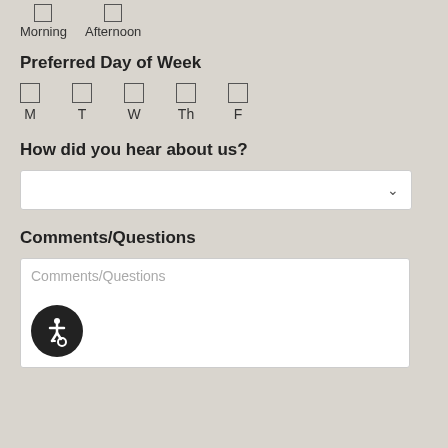Morning  Afternoon
Preferred Day of Week
M  T  W  Th  F
How did you hear about us?
[dropdown selector]
Comments/Questions
Comments/Questions [placeholder text in textarea]
[Figure (illustration): Accessibility icon - wheelchair symbol in white on dark circular background]